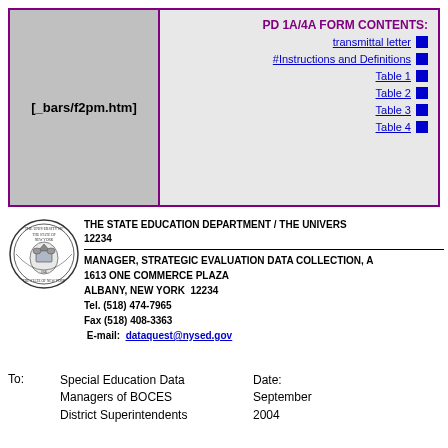[Figure (infographic): Navigation box with purple border, gray left panel showing '[_bars/f2pm.htm]', and right panel listing PD 1A/4A FORM CONTENTS with links: transmittal letter, #Instructions and Definitions, Table 1, Table 2, Table 3, Table 4]
THE STATE EDUCATION DEPARTMENT / THE UNIVERSITY OF THE STATE OF NEW YORK / ALBANY, NEW YORK 12234
MANAGER, STRATEGIC EVALUATION DATA COLLECTION, ANALYSIS AND REPORTING
1613 ONE COMMERCE PLAZA
ALBANY, NEW YORK  12234
Tel. (518) 474-7965
Fax (518) 408-3363
E-mail: dataquest@nysed.gov
To: Special Education Data Managers of BOCES
District Superintendents
Date: September 2004